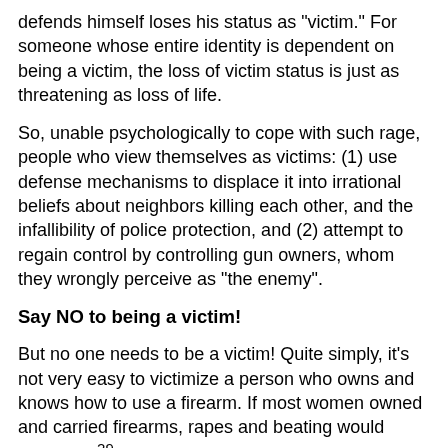defends himself loses his status as "victim." For someone whose entire identity is dependent on being a victim, the loss of victim status is just as threatening as loss of life.
So, unable psychologically to cope with such rage, people who view themselves as victims: (1) use defense mechanisms to displace it into irrational beliefs about neighbors killing each other, and the infallibility of police protection, and (2) attempt to regain control by controlling gun owners, whom they wrongly perceive as "the enemy".
Say NO to being a victim!
But no one needs to be a victim! Quite simply, it's not very easy to victimize a person who owns and knows how to use a firearm. If most women owned and carried firearms, rapes and beating would decrease.29 Thugs who target the elderly and disabled would find honest work once they realized they were likely to be looking down the barrel of a pistol or shotgun. It's nearly impossible to enslave, or herd into concentration camps,